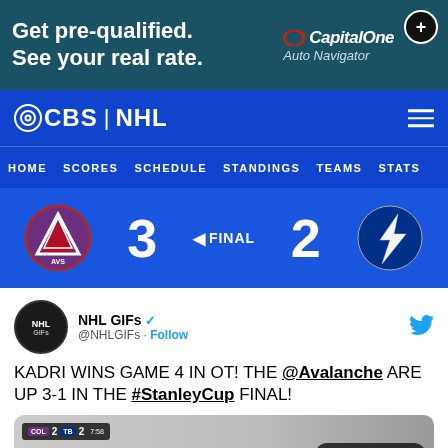[Figure (screenshot): Capital One Auto Navigator advertisement banner with dark teal background. Text: 'Get pre-qualified. See your real rate.' with Capital One logo and Auto Navigator branding, and a plus circle button in the top right.]
CBS | NHL
HOME   SCORES   SCHEDULE   STANDINGS   TEAMS   STATS
[Figure (infographic): NHL game score bar showing Colorado Avalanche logo, score 3, FINAL (with left arrow), score 2, Tampa Bay Lightning logo.]
[Figure (screenshot): Embedded tweet from NHL GIFs (@NHLGIFs) with Twitter verified badge. Tweet text: 'KADRI WINS GAME 4 IN OT! THE @Avalanche ARE UP 3-1 IN THE #StanleyCup FINAL!' with a hockey game image and 'Watch on Twitter' button.]